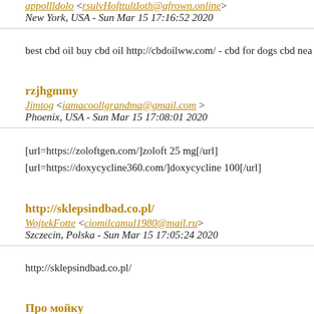appollldolo <rsulvHofttultIoth@afrown.online>
New York, USA - Sun Mar 15 17:16:52 2020
best cbd oil buy cbd oil http://cbdoilww.com/ - cbd for dogs cbd nea
rzjhgmmy
Jimtog <iamacoollgrandma@gmail.com >
Phoenix, USA - Sun Mar 15 17:08:01 2020
[url=https://zoloftgen.com/]zoloft 25 mg[/url]
[url=https://doxycycline360.com/]doxycycline 100[/url]
http://sklepsindbad.co.pl/
WojtekFotte <ciomilcamul1980@mail.ru>
Szczecin, Polska - Sun Mar 15 17:05:24 2020
http://sklepsindbad.co.pl/
Про мойку